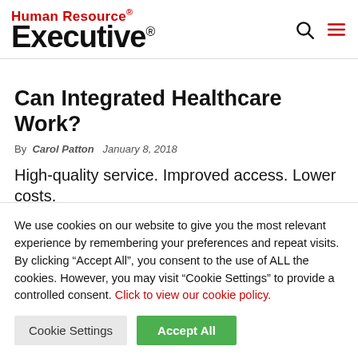Human Resource Executive
Can Integrated Healthcare Work?
By Carol Patton   January 8, 2018
High-quality service. Improved access. Lower costs.
That's what CVS Health has set out to achieve...
We use cookies on our website to give you the most relevant experience by remembering your preferences and repeat visits. By clicking “Accept All”, you consent to the use of ALL the cookies. However, you may visit “Cookie Settings” to provide a controlled consent. Click to view our cookie policy.